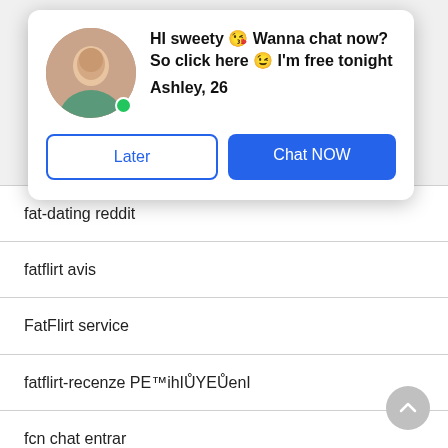[Figure (photo): Popup notification card with avatar photo of a young woman, online indicator dot, message text, name, and two buttons (Later, Chat NOW)]
HI sweety 😘 Wanna chat now? So click here 😉 I'm free tonight
Ashley, 26
fat-dating reddit
fatflirt avis
FatFlirt service
fatflirt-recenze PE™ihIŮYEŮenI
fcn chat entrar
fcn chat gratis
fcn chat payant